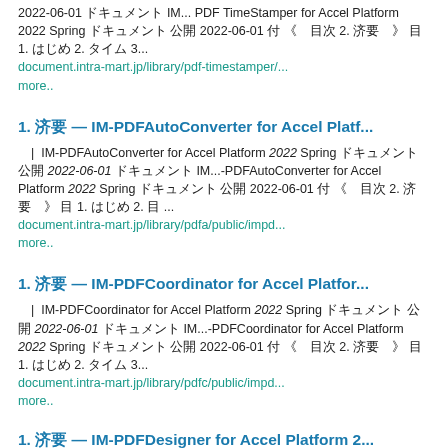2022-06-01 IM... PDF TimeStamper for Accel Platform 2022 Spring ドキュメント 公開 2022-06-01 付 《 目次 2. 概要 》 目 1. はじめ 2. タイム 3... document.intra-mart.jp/library/pdf-timestamper/... more..
1. 概要 — IM-PDFAutoConverter for Accel Platf...
| IM-PDFAutoConverter for Accel Platform 2022 Spring ドキュメント 公開 2022-06-01 ドキュメント IM...-PDFAutoConverter for Accel Platform 2022 Spring ドキュメント 公開 2022-06-01 付 《 目次 2. 概要 》 目 1. はじめ 2. 目... document.intra-mart.jp/library/pdfa/public/impd... more..
1. 概要 — IM-PDFCoordinator for Accel Platfor...
| IM-PDFCoordinator for Accel Platform 2022 Spring ドキュメント 公開 2022-06-01 ドキュメント IM...-PDFCoordinator for Accel Platform 2022 Spring ドキュメント 公開 2022-06-01 付 《 目次 2. 概要 》 目 1. はじめ 2. タイム 3... document.intra-mart.jp/library/pdfc/public/impd... more..
1. 概要 — IM-PDFDesigner for Accel Platform 2...